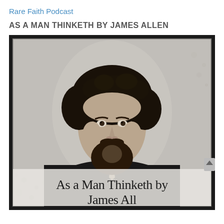Rare Faith Podcast
AS A MAN THINKETH BY JAMES ALLEN
[Figure (photo): Black and white vintage photograph of James Allen, a bearded man in Victorian-era clothing, with the text 'As a Man Thinketh by James All...' overlaid at the bottom of the image. The photo has a worn, aged appearance with dark borders.]